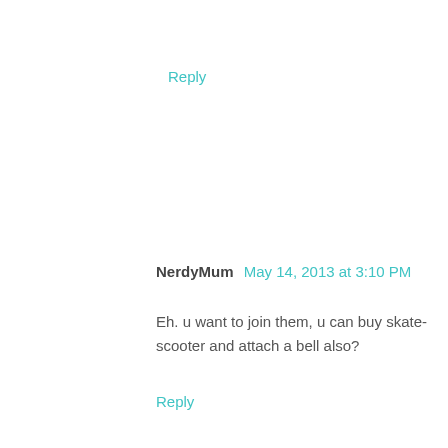Reply
NerdyMum  May 14, 2013 at 3:10 PM
Eh. u want to join them, u can buy skate-scooter and attach a bell also?
Reply
▾ Replies
DinoMama  May 14, 2013 at 4:16 PM
Don't want! That scooter thing is also